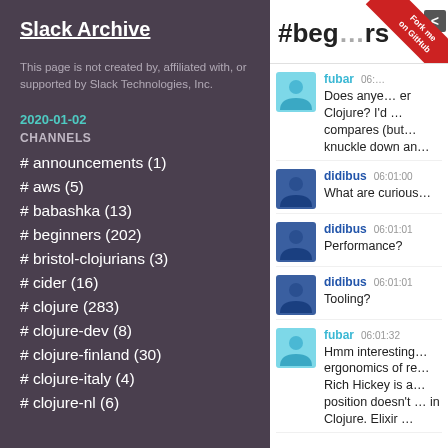Slack Archive
This page is not created by, affiliated with, or supported by Slack Technologies, Inc.
2020-01-02
CHANNELS
# announcements (1)
# aws (5)
# babashka (13)
# beginners (202)
# bristol-clojurians (3)
# cider (16)
# clojure (283)
# clojure-dev (8)
# clojure-finland (30)
# clojure-italy (4)
# clojure-nl (6)
#beginners
fubar 06:... Does anye... Clojure? I'd ... compares (but... knuckle down a...
didibus 06:01:00 What are curious...
didibus 06:01:01 Performance?
didibus 06:01:01 Tooling?
fubar 06:01:32 Hmm interesting... ergonomics of re... Rich Hickey is a... position doesn't ... in Clojure. Elixir ...